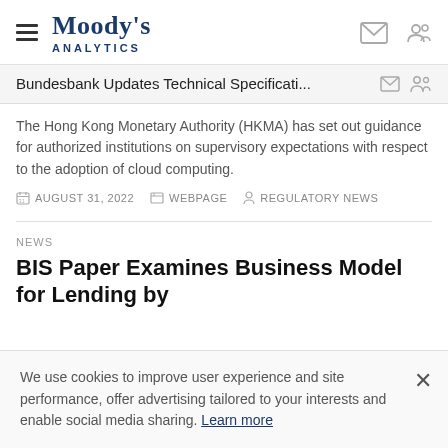Moody's Analytics
Bundesbank Updates Technical Specificati...
The Hong Kong Monetary Authority (HKMA) has set out guidance for authorized institutions on supervisory expectations with respect to the adoption of cloud computing.
AUGUST 31, 2022   WEBPAGE   REGULATORY NEWS
NEWS
BIS Paper Examines Business Model for Lending by
We use cookies to improve user experience and site performance, offer advertising tailored to your interests and enable social media sharing. Learn more